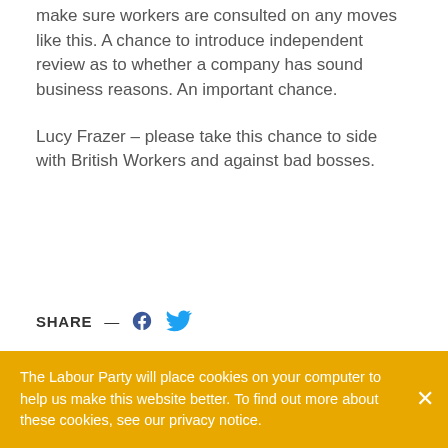make sure workers are consulted on any moves like this. A chance to introduce independent review as to whether a company has sound business reasons. An important chance.
Lucy Frazer – please take this chance to side with British Workers and against bad bosses.
SHARE — [Facebook icon] [Twitter icon]
The Labour Party will place cookies on your computer to help us make this website better. To find out more about these cookies, see our privacy notice.